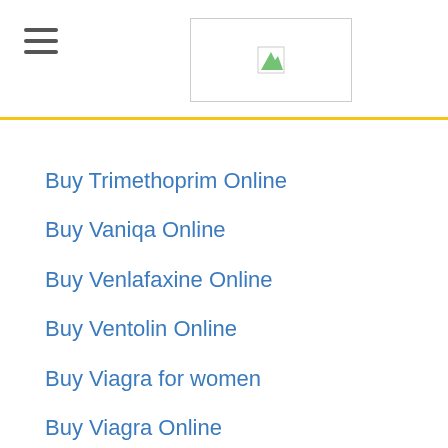Buy Trimethoprim Online
Buy Vaniqa Online
Buy Venlafaxine Online
Buy Ventolin Online
Buy Viagra for women
Buy Viagra Online
Buy Viagra Oral Jelly